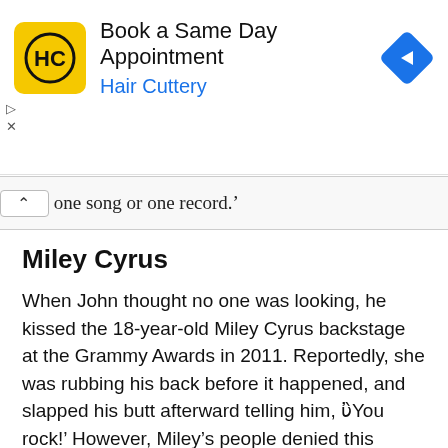[Figure (screenshot): Hair Cuttery advertisement banner: yellow square logo with HC initials, text 'Book a Same Day Appointment' and 'Hair Cuttery' in blue, blue diamond navigation arrow icon on right]
one song or one record.'
Miley Cyrus
When John thought no one was looking, he kissed the 18-year-old Miley Cyrus backstage at the Grammy Awards in 2011. Reportedly, she was rubbing his back before it happened, and slapped his butt afterward telling him, ‘You rock!’ However, Miley’s people denied this rumor.
Katy Perry